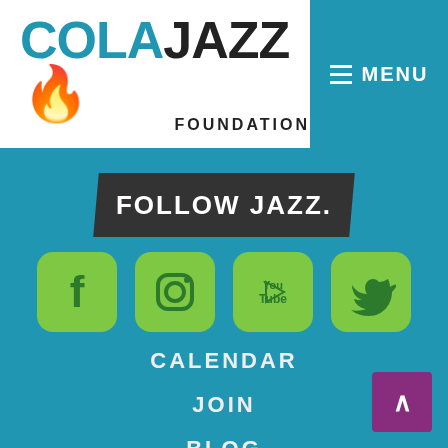[Figure (logo): ColaJazz Foundation logo with teal COLA text, black JAZZ text, flame icon, and FOUNDATION subtitle]
[Figure (infographic): Teal hamburger menu button with MENU label on dark teal background]
FOLLOW JAZZ.
[Figure (infographic): Social media icons row: Facebook, Instagram, YouTube, Twitter — all in green rounded square buttons on teal background]
CALENDAR
JOIN
BLOG
ABOUT